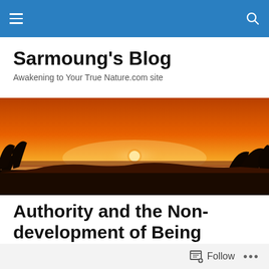Navigation bar with hamburger menu and search icon
Sarmoung's Blog
Awakening to Your True Nature.com site
[Figure (photo): Panoramic sunset photo with orange and red sky, sun setting on the horizon, silhouette of trees in foreground]
Authority and the Non-development of Being
Rate This
Follow